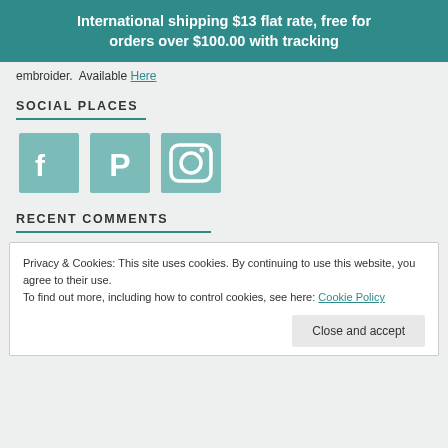International shipping $13 flat rate, free for orders over $100.00 with tracking
embroider.  Available Here
SOCIAL PLACES
[Figure (illustration): Three social media icons (Facebook, Pinterest, Instagram) in teal/green leaf style]
RECENT COMMENTS
Privacy & Cookies: This site uses cookies. By continuing to use this website, you agree to their use. To find out more, including how to control cookies, see here: Cookie Policy. Close and accept.